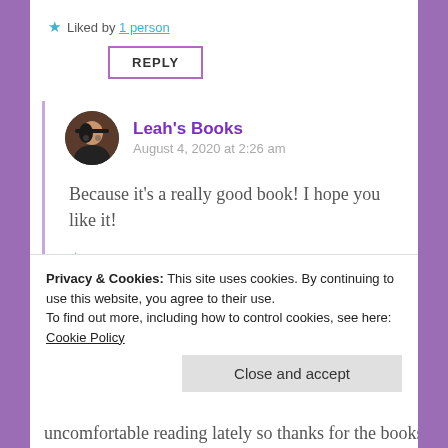Liked by 1 person
REPLY
Leah's Books
August 4, 2020 at 2:26 am
Because it's a really good book! I hope you like it!
Like
REPLY
Privacy & Cookies: This site uses cookies. By continuing to use this website, you agree to their use.
To find out more, including how to control cookies, see here: Cookie Policy
Close and accept
uncomfortable reading lately so thanks for the books